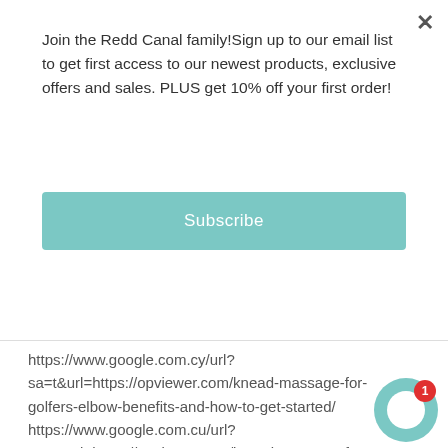Join the Redd Canal family!Sign up to our email list to get first access to our newest products, exclusive offers and sales. PLUS get 10% off your first order!
Subscribe
https://www.google.com.cy/url?sa=t&url=https://opviewer.com/knead-massage-for-golfers-elbow-benefits-and-how-to-get-started/ https://www.google.com.cu/url?sa=t&url=https://opviewer.com/knead-massage-for-golfers-elbow-benefits-and-how-to-get-started/ https://www.google.com.co/url?sa=t&url=https://opviewer.com/knead-massa-golfers-elbow-benefits-and-how-to-get-sta- https://www.google.com.bz/url?